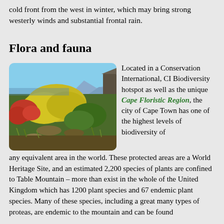cold front from the west in winter, which may bring strong westerly winds and substantial frontal rain.
Flora and fauna
[Figure (photo): Landscape photograph showing fynbos vegetation with colorful yellow and red flowering plants in the foreground, rocky outcrops, and mountains and ocean visible in the background under a blue sky. Taken on or near Table Mountain, Cape Town.]
Located in a Conservation International, CI Biodiversity hotspot as well as the unique Cape Floristic Region, the city of Cape Town has one of the highest levels of biodiversity of any equivalent area in the world. These protected areas are a World Heritage Site, and an estimated 2,200 species of plants are confined to Table Mountain – more than exist in the whole of the United Kingdom which has 1200 plant species and 67 endemic plant species. Many of these species, including a great many types of proteas, are endemic to the mountain and can be found